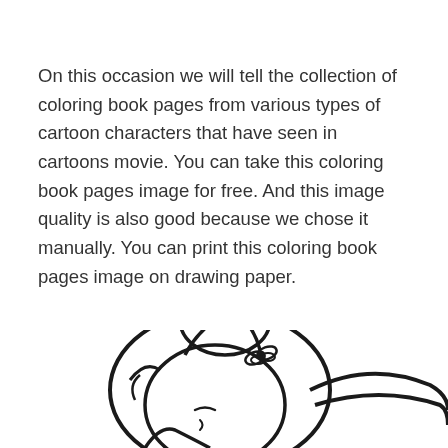On this occasion we will tell the collection of coloring book pages from various types of cartoon characters that have seen in cartoons movie. You can take this coloring book pages image for free. And this image quality is also good because we chose it manually. You can print this coloring book pages image on drawing paper.
[Figure (illustration): A cartoon character illustration (partially visible) of what appears to be a female cartoon figure with large rounded hair/head shape, a butterfly hair accessory, and flowing lines suggesting a tail or fabric. The image is a black and white line drawing in coloring book style.]